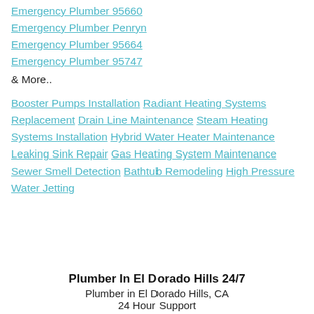Emergency Plumber 95660
Emergency Plumber Penryn
Emergency Plumber 95664
Emergency Plumber 95747
& More..
Booster Pumps Installation Radiant Heating Systems Replacement Drain Line Maintenance Steam Heating Systems Installation Hybrid Water Heater Maintenance Leaking Sink Repair Gas Heating System Maintenance Sewer Smell Detection Bathtub Remodeling High Pressure Water Jetting
Plumber In El Dorado Hills 24/7
Plumber in El Dorado Hills, CA
24 Hour Support